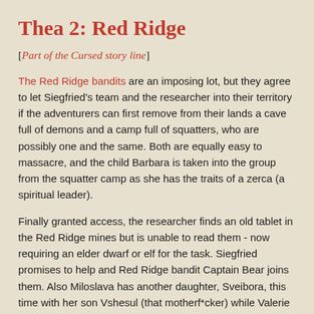Thea 2: Red Ridge
[Part of the Cursed story line]
The Red Ridge bandits are an imposing lot, but they agree to let Siegfried's team and the researcher into their territory if the adventurers can first remove from their lands a cave full of demons and a camp full of squatters, who are possibly one and the same. Both are equally easy to massacre, and the child Barbara is taken into the group from the squatter camp as she has the traits of a zerca (a spiritual leader).
Finally granted access, the researcher finds an old tablet in the Red Ridge mines but is unable to read them - now requiring an elder dwarf or elf for the task. Siegfried promises to help and Red Ridge bandit Captain Bear joins them. Also Miloslava has another daughter, Sveibora, this time with her son Vshesul (that motherf*cker) while Valerie helps wandering King "Arathor" to pull a sword from a stone. The thankful King sends Valerie across a bridge (which holds a battle of wisdom) to a nearby lake where the local